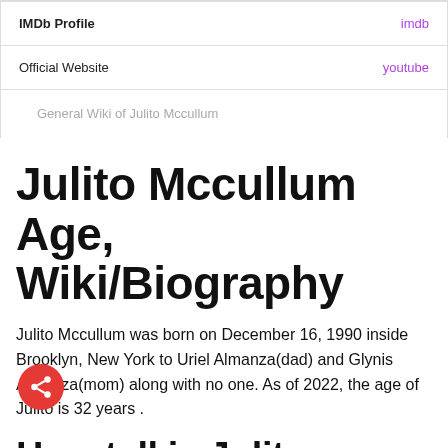| IMDb Profile | imdb |
| Official Website | youtube |
| General Wiki of Julito Mccullum |  |
Julito Mccullum Age, Wiki/Biography
Julito Mccullum was born on December 16, 1990 inside Brooklyn, New York to Uriel Almanza(dad) and Glynis Almanza(mom) along with no one. As of 2022, the age of Julito is 32 years .
How tall is Julito Mccullum?